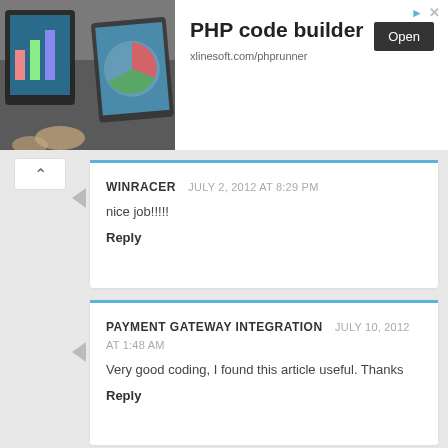[Figure (screenshot): Advertisement banner for PHP code builder by xlinesoft.com/phprunner with an Open button and a photo of tablets/devices]
WINRACER  JULY 2, 2012 AT 8:29 PM
nice job!!!!!
Reply
PAYMENT GATEWAY INTEGRATION  JULY 10, 2012 AT 1:48 AM
Very good coding, I found this article useful. Thanks
Reply
ANONYMOUS  JULY 10, 2012 AT 2:29 PM
I'm not giving my email just to obtain your code. Nice try.
Reply